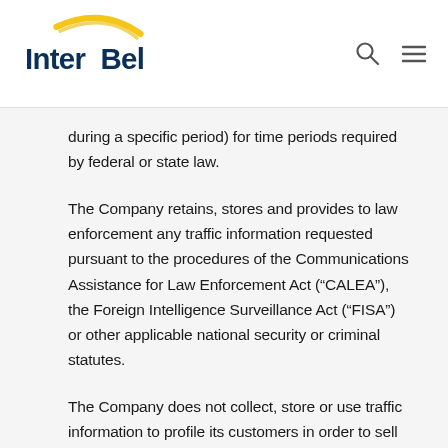[Figure (logo): InterBel company logo with yellow arc above blue text]
during a specific period) for time periods required by federal or state law.
The Company retains, stores and provides to law enforcement any traffic information requested pursuant to the procedures of the Communications Assistance for Law Enforcement Act (“CALEA”), the Foreign Intelligence Surveillance Act (“FISA”) or other applicable national security or criminal statutes.
The Company does not collect, store or use traffic information to profile its customers in order to sell additional services to them, or